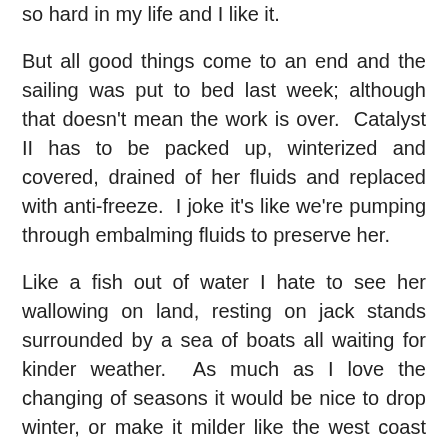so hard in my life and I like it.
But all good things come to an end and the sailing was put to bed last week; although that doesn't mean the work is over.  Catalyst II has to be packed up, winterized and covered, drained of her fluids and replaced with anti-freeze.  I joke it's like we're pumping through embalming fluids to preserve her.
Like a fish out of water I hate to see her wallowing on land, resting on jack stands surrounded by a sea of boats all waiting for kinder weather.  As much as I love the changing of seasons it would be nice to drop winter, or make it milder like the west coast so the boats never have to come out of the water.    But then of course, we would be inundated with settlers to our mild climate and Mahone Bay would have